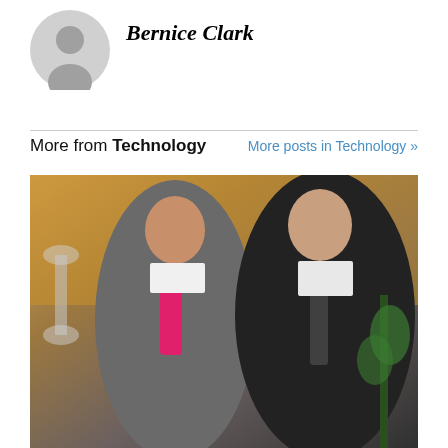Bernice Clark
[Figure (illustration): Gray circular avatar/profile placeholder icon]
More from Technology
More posts in Technology »
[Figure (photo): Two businessmen in suits standing together in an office or professional setting. The man on the left wears a gray suit with a pink/magenta tie and glasses. The man on the right wears a dark suit with a patterned tie. Background includes decorative elements and plants.]